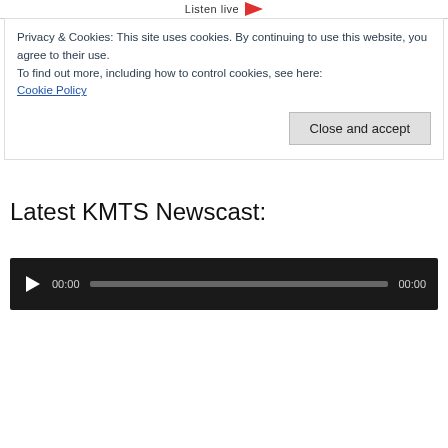Listen live
Privacy & Cookies: This site uses cookies. By continuing to use this website, you agree to their use.
To find out more, including how to control cookies, see here:
Cookie Policy
Close and accept
Latest KMTS Newscast:
[Figure (other): Audio player widget with play button, time display showing 00:00, progress bar, and end time 00:00]